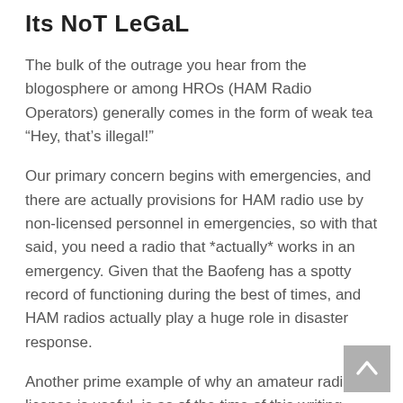Its NoT LeGaL
The bulk of the outrage you hear from the blogosphere or among HROs (HAM Radio Operators) generally comes in the form of weak tea “Hey, that’s illegal!”
Our primary concern begins with emergencies, and there are actually provisions for HAM radio use by non-licensed personnel in emergencies, so with that said, you need a radio that *actually* works in an emergency. Given that the Baofeng has a spotty record of functioning during the best of times, and HAM radios actually play a huge role in disaster response.
Another prime example of why an amateur radio license is useful, is as of the time of this writing, Nashville experienced powerful blast that affected communications throughout the area. While it’s just AT&T affected this time, this is the THIRD major